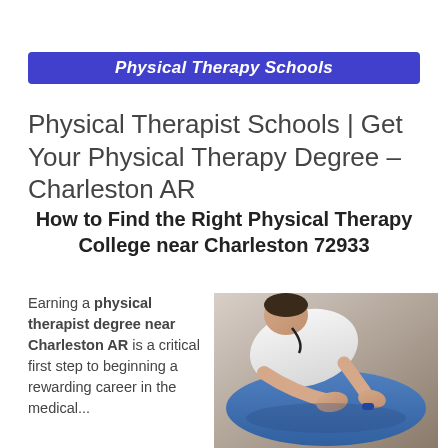Physical Therapy Schools
Physical Therapist Schools | Get Your Physical Therapy Degree – Charleston AR
How to Find the Right Physical Therapy College near Charleston 72933
Earning a physical therapist degree near Charleston AR is a critical first step to beginning a rewarding career in the medical...
[Figure (photo): A physical therapist in a white coat performing hands-on therapy on a patient lying face down, applying pressure to the patient's back.]